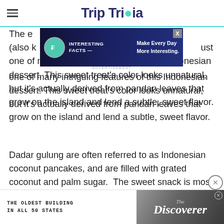Trip Trivia
[Figure (screenshot): Advertisement banner: Interesting Facts with icon and 'Make Every Day More Interesting.' text on dark background with X close button]
The emerald green color of dadar gulung (also known as Kue Dadar or Kue Ketayap) is just one of many intriguing features of this Indonesian dessert. This sweet treat's color looks unnatural, but it's actually derived from pandan leaves that grow on the island and lend a subtle, sweet flavor.
Dadar gulung are often referred to as Indonesian coconut pancakes, and are filled with grated coconut and palm sugar.  The sweet snack is most popular in Java, and can be found in markets and at street stalls across the island.
[Figure (screenshot): Advertisement banner: The Oldest Building In All 50 States - The Discoverer magazine ad]